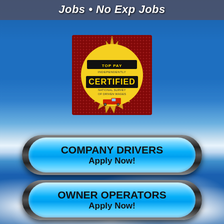Jobs • No Exp Jobs
[Figure (logo): TOP PAY Independently Certified National Survey of Driven Wages badge with red/gold star burst and truck image]
[Figure (infographic): COMPANY DRIVERS Apply Now! blue pill-shaped button with chrome border]
[Figure (infographic): OWNER OPERATORS Apply Now! blue pill-shaped button with chrome border]